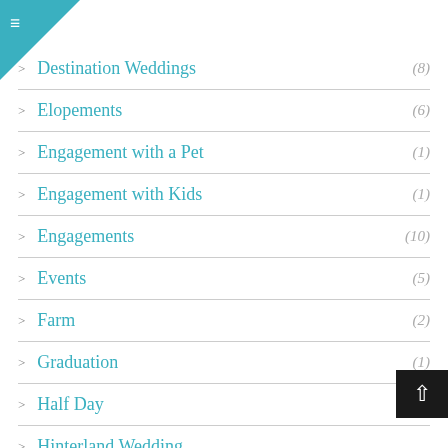> Destination Weddings (8)
> Elopements (6)
> Engagement with a Pet (1)
> Engagement with Kids (1)
> Engagements (10)
> Events (5)
> Farm (2)
> Graduation (1)
> Half Day (23)
> Hinterland Wedding